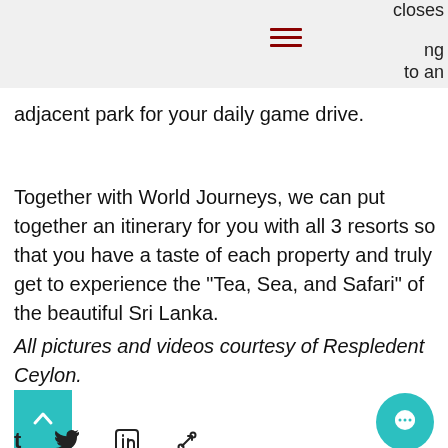closes  ng  to an
adjacent park for your daily game drive.
Together with World Journeys, we can put together an itinerary for you with all 3 resorts so that you have a taste of each property and truly get to experience the "Tea, Sea, and Safari" of the beautiful Sri Lanka.
All pictures and videos courtesy of Respledent Ceylon.
[Figure (infographic): Back to top button (teal square with upward chevron), chat bubble icon (teal circle), and social sharing icons: t (tumblr), Twitter bird, LinkedIn, link/chain icon]